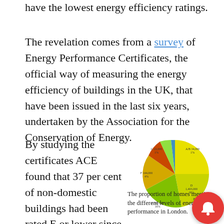have the lowest energy efficiency ratings.
The revelation comes from a survey of Energy Performance Certificates, the official way of measuring the energy efficiency of buildings in the UK, that have been issued in the last six years, undertaken by the Association for the Conservation of Energy.
By studying the certificates ACE found that 37 per cent of non-domestic buildings had been rated E or lower since 2009 and only around
[Figure (pie-chart): Pie chart showing proportions of homes at different energy performance levels in London. Slices in yellow, green, light green, orange, red/brown, and blue colors with small labels.]
The proportion of homes meeting the different levels of energy performance in London.